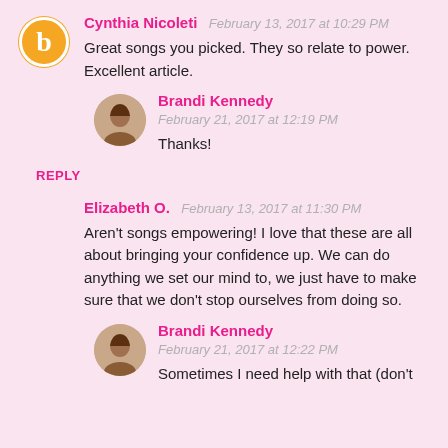Cynthia Nicoleti  February 13, 2017 at 10:29 PM
Great songs you picked. They so relate to power. Excellent article.
Brandi Kennedy  February 21, 2017 at 12:19 PM
Thanks!
REPLY
Elizabeth O.  February 13, 2017 at 11:30 PM
Aren't songs empowering! I love that these are all about bringing your confidence up. We can do anything we set our mind to, we just have to make sure that we don't stop ourselves from doing so.
Brandi Kennedy  February 21, 2017 at 12:22 PM
Sometimes I need help with that (don't